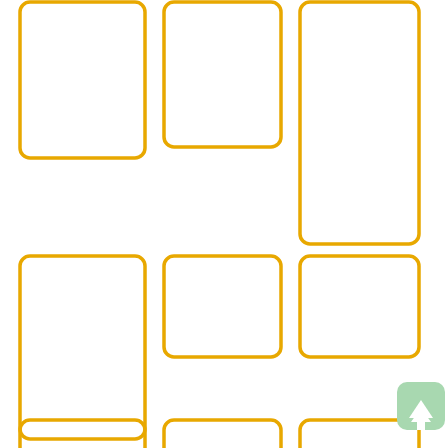[Figure (illustration): A grid of rounded rectangles outlined in golden/amber color on white background. Top row: three tall rounded rectangles (portrait orientation), with the rightmost one being taller and extending further down. Middle row: three rounded rectangles — one tall portrait on the left, two shorter landscape ones in center and right. Bottom row: three partially visible rounded rectangles cut off at the bottom of the page. A small green rounded square with a white upward arrow icon appears in the bottom-right corner.]